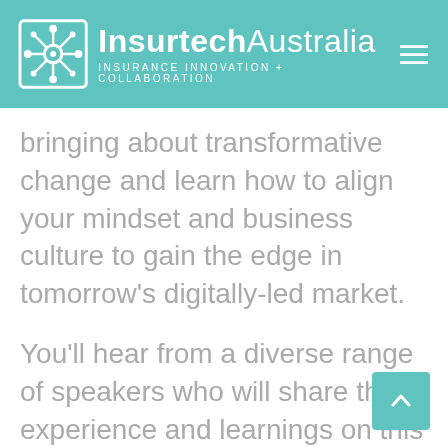Insurtech Australia — INSURANCE INNOVATION + COLLABORATION
bringing about transformative change and learn how to align your mindset and business culture to gain the edge in tomorrow's digitally-led market.
You'll hear from a diverse range of speakers who will share their experience and learnings on this topic.